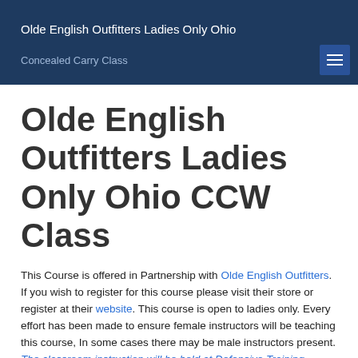Olde English Outfitters Ladies Only Ohio
Concealed Carry Class
Olde English Outfitters Ladies Only Ohio CCW Class
This Course is offered in Partnership with Olde English Outfitters. If you wish to register for this course please visit their store or register at their website. This course is open to ladies only. Every effort has been made to ensure female instructors will be teaching this course, In some cases there may be male instructors present. The classroom instruction will be held at Defensive Training Solutions, while the range portion of this course will typically be held at Olde English Outfitters